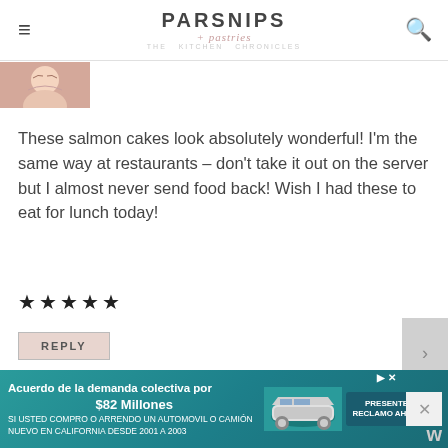PARSNIPS + pastries
[Figure (photo): Small thumbnail photo of a woman's face]
These salmon cakes look absolutely wonderful! I'm the same way at restaurants – don't take it out on the server but I almost never send food back! Wish I had these to eat for lunch today!
★★★★★
REPLY
[Figure (infographic): Advertisement: Acuerdo de la demanda colectiva por $82 Millones - SI USTED COMPRO O ARRENDO UN AUTOMOVIL O CAMIÓN NUEVO EN CALIFORNIA DESDE 2001 A 2003]